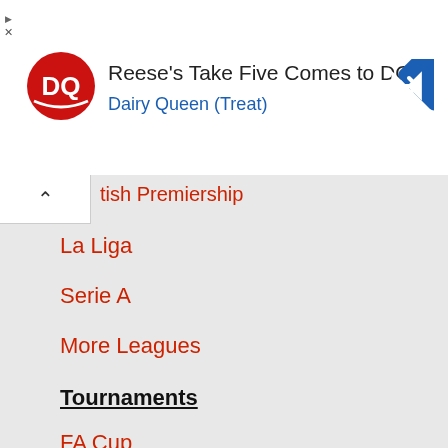[Figure (logo): Dairy Queen advertisement banner with DQ logo, text 'Reese's Take Five Comes to DQ®', subtitle 'Dairy Queen (Treat)', and a blue navigation arrow icon]
tish Premiership
La Liga
Serie A
More Leagues
Tournaments
FA Cup
League Cup
Champions League
Europa League
World Cup
Euros
Popular Stadiums
Old Trafford